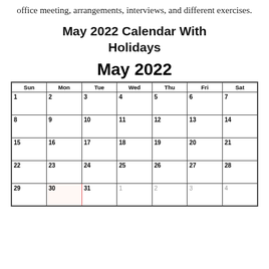office meeting, arrangements, interviews, and different exercises.
May 2022 Calendar With Holidays
May 2022
| Sun | Mon | Tue | Wed | Thu | Fri | Sat |
| --- | --- | --- | --- | --- | --- | --- |
| 1 | 2 | 3 | 4 | 5 | 6 | 7 |
| 8 | 9 | 10 | 11 | 12 | 13 | 14 |
| 15 | 16 | 17 | 18 | 19 | 20 | 21 |
| 22 | 23 | 24 | 25 | 26 | 27 | 28 |
| 29 | 30 | 31 | 1 | 2 | 3 | 4 |